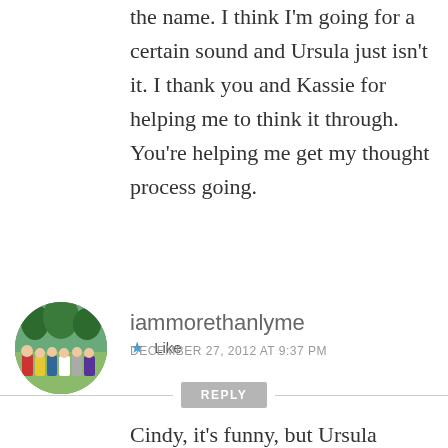the name. I think I'm going for a certain sound and Ursula just isn't it. I thank you and Kassie for helping me to think it through. You're helping me get my thought process going.
★ Like
REPLY
[Figure (photo): Circular avatar photo of a group of people outdoors with trees in background]
iammorethanlyme
DECEMBER 27, 2012 AT 9:37 PM
Cindy, it's funny, but Ursula